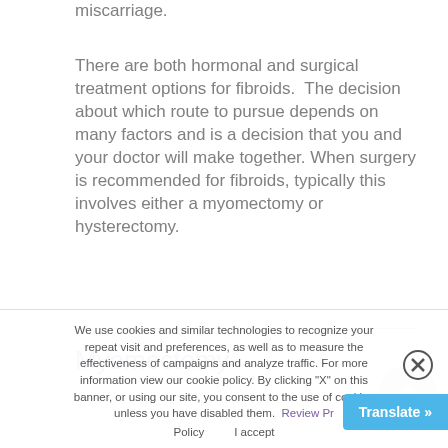miscarriage.
There are both hormonal and surgical treatment options for fibroids.  The decision about which route to pursue depends on many factors and is a decision that you and your doctor will make together. When surgery is recommended for fibroids, typically this involves either a myomectomy or hysterectomy.
Myomectomy
We use cookies and similar technologies to recognize your repeat visit and preferences, as well as to measure the effectiveness of campaigns and analyze traffic. For more information view our cookie policy. By clicking "X" on this banner, or using our site, you consent to the use of cookies unless you have disabled them.  Review Pr... Policy    I accept